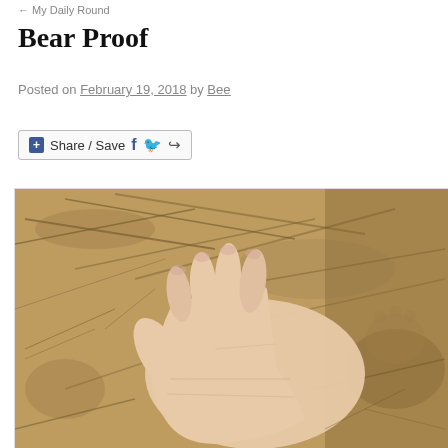My Daily Round
Bear Proof
Posted on February 19, 2018 by Bee
[Figure (other): Share/Save social media sharing button bar with plus icon, Facebook icon, Twitter bird icon, and share arrow icon]
[Figure (photo): Close-up photograph of a human hand placed flat on sandy dirt ground with dry grass and straw scattered around, showing the hand alongside what appears to be a bear paw print for size comparison]